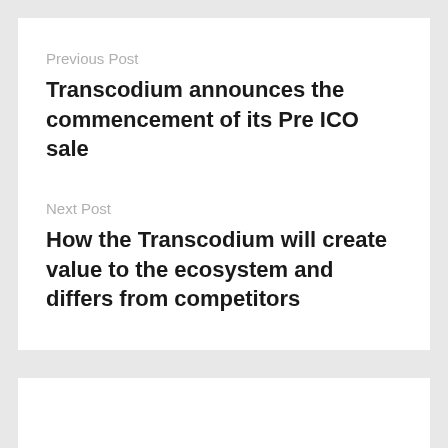Previous Post
Transcodium announces the commencement of its Pre ICO sale
Next Post
How the Transcodium will create value to the ecosystem and differs from competitors